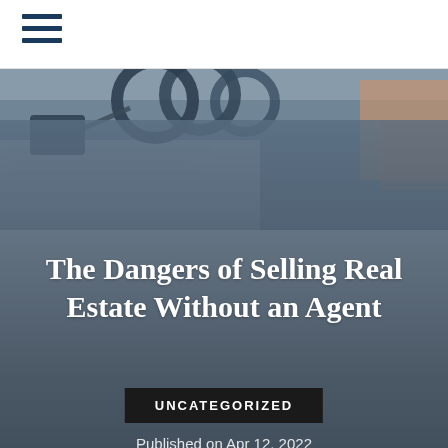[Figure (photo): Hero image showing keys on a keyring resting on a document, with a blurred background. Blue-tinted photo with dark overlay gradient.]
The Dangers of Selling Real Estate Without an Agent
UNCATEGORIZED
Published on Apr 12, 2022
[Figure (other): Row of social media sharing icons (circular buttons) in shades of blue]